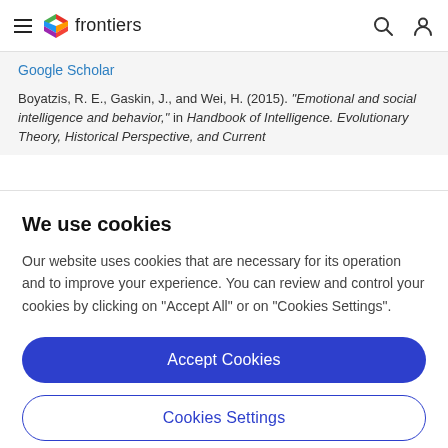frontiers
Google Scholar
Boyatzis, R. E., Gaskin, J., and Wei, H. (2015). "Emotional and social intelligence and behavior," in Handbook of Intelligence. Evolutionary Theory, Historical Perspective, and Current
We use cookies
Our website uses cookies that are necessary for its operation and to improve your experience. You can review and control your cookies by clicking on "Accept All" or on "Cookies Settings".
Accept Cookies
Cookies Settings